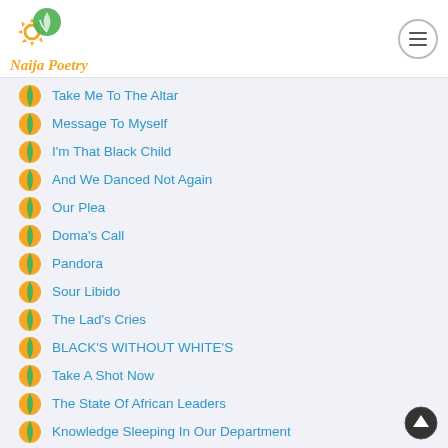Naija Poetry
Take Me To The Altar
Message To Myself
I'm That Black Child
And We Danced Not Again
Our Plea
Doma's Call
Pandora
Sour Libido
The Lad's Cries
BLACK'S WITHOUT WHITE'S
Take A Shot Now
The State Of African Leaders
Knowledge Sleeping In Our Department
Her Voice On The Phone
ONCE UPON A BEAUTY
Another Great Mind Lost
Buried Me Not With The Great
If I Die Tonight